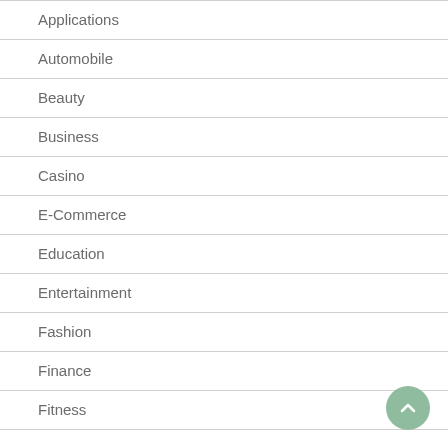Applications
Automobile
Beauty
Business
Casino
E-Commerce
Education
Entertainment
Fashion
Finance
Fitness